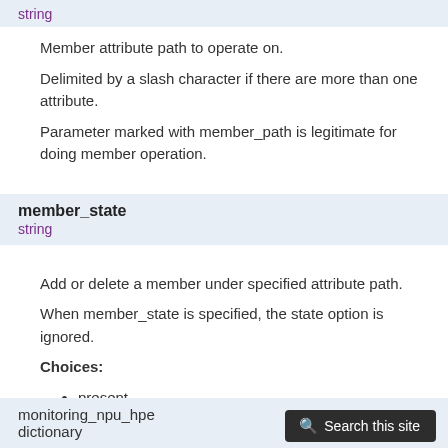string
Member attribute path to operate on.
Delimited by a slash character if there are more than one attribute.
Parameter marked with member_path is legitimate for doing member operation.
member_state
string
Add or delete a member under specified attribute path.
When member_state is specified, the state option is ignored.
Choices:
present
absent
monitoring_npu_hpe
dictionary